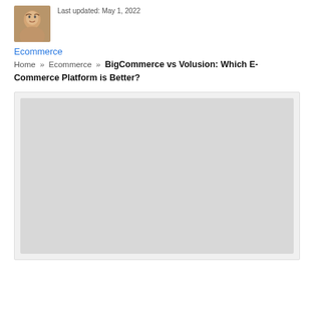[Figure (photo): Author avatar photo showing a young man]
Last updated: May 1, 2022
Ecommerce
Home » Ecommerce » BigCommerce vs Volusion: Which E-Commerce Platform is Better?
[Figure (photo): Large placeholder image area, light gray background]